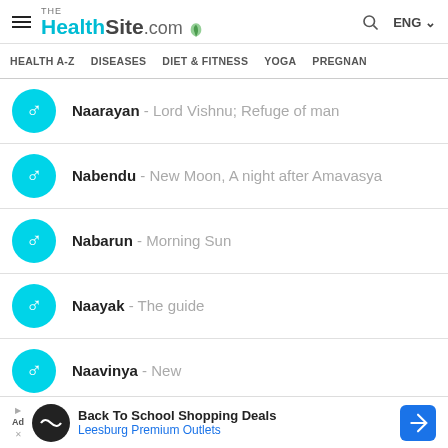THE HealthSite.com | ENG
HEALTH A-Z   DISEASES   DIET & FITNESS   YOGA   PREGNAN
Naarayan - Lord Vishnu; Refuge of man
Nabendu - New Moon, A night after Amavasya
Nabarun - Morning Sun
Naayak - The guide
Naavinya - New
Nabhas - Celestial; Appearing in the sky; Name of individual constellations; Sky; Ocean; Heavenly
Back To School Shopping Deals — Leesburg Premium Outlets